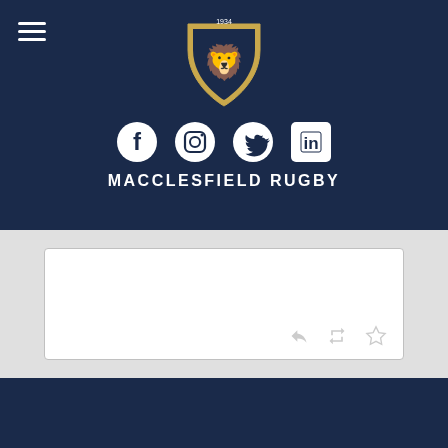[Figure (logo): Macclesfield RUFC crest/shield logo with lion rampant and year 1934, gold and navy]
[Figure (illustration): Social media icons: Facebook, Instagram, Twitter, LinkedIn in white on dark navy background]
MACCLESFIELD RUGBY
[Figure (screenshot): White tweet/post embed box with reply, retweet, and favourite icons at bottom right]
Macclesfield RUFC
Priory Park, Priory Lane Macclesfield SK10 4AE